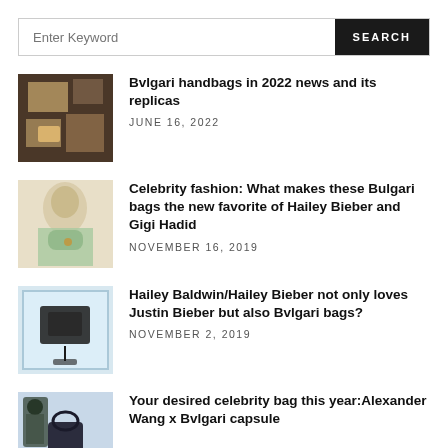Enter Keyword | SEARCH
Bvlgari handbags in 2022 news and its replicas
JUNE 16, 2022
Celebrity fashion: What makes these Bulgari bags the new favorite of Hailey Bieber and Gigi Hadid
NOVEMBER 16, 2019
Hailey Baldwin/Hailey Bieber not only loves Justin Bieber but also Bvlgari bags?
NOVEMBER 2, 2019
Your desired celebrity bag this year:Alexander Wang x Bvlgari capsule
[Figure (photo): Bvlgari store interior with handbags display]
[Figure (photo): Woman holding green Bulgari bag]
[Figure (photo): Dark Bvlgari bag on display shelf]
[Figure (photo): Black handbag with plant/accessory]